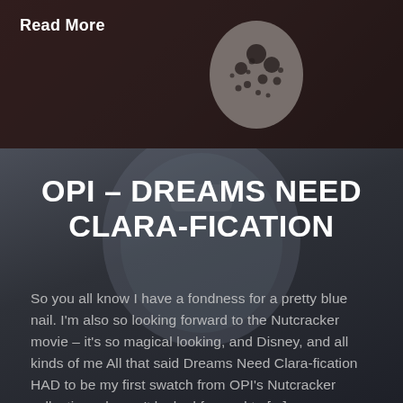[Figure (photo): Close-up photo of a nail with white polish and dark spotted/dotted nail art design, on a dark brownish-red blurred background]
Read More
[Figure (photo): Close-up macro photo of an OPI nail polish bottle with blue-grey polish, dark blurred background with bokeh]
OPI – DREAMS NEED CLARA-FICATION
So you all know I have a fondness for a pretty blue nail. I'm also so looking forward to the Nutcracker movie – it's so magical looking, and Disney, and all kinds of me All that said Dreams Need Clara-fication HAD to be my first swatch from OPI's Nutcracker collection – haven't looked forward to [...]